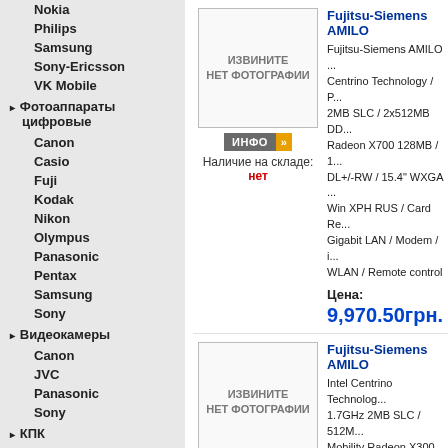Nokia
Philips
Samsung
Sony-Ericsson
VK Mobile
▸ Фотоаппараты цифровые
Canon
Casio
Fuji
Kodak
Nikon
Olympus
Panasonic
Pentax
Samsung
Sony
▸ Видеокамеры
Canon
JVC
Panasonic
Sony
▸ КПК
Asus
Dell
E-Ten
Fujitsu-Siemens
Fujitsu-Siemens AMILO - Fujitsu-Siemens AMILO ... Centrino Technology / P... 2MB SLC / 2x512MB DD... Radeon X700 128MB / 1... DL+/-RW / 15.4" WXGA ... Win XPH RUS / Card Re... Gigabit LAN / Modem / i... WLAN / Remote control
Цена: 9,970.50грн.
Fujitsu-Siemens AMILO - Intel Centrino Technology... 1.7GHz 2MB SLC / 512M... Mobility Radeon X300 3... 128MB Video RAM / 800... RW / 15.4" WXGA Cryst... RUS / Gigabit LAN / Mo... Pro WLA
Цена: 7,786.00грн.